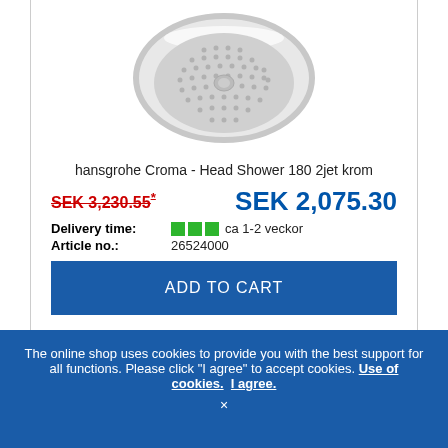[Figure (photo): Hansgrohe Croma shower head, round chrome/white, view from below]
hansgrohe Croma - Head Shower 180 2jet krom
SEK 3,230.55* (crossed out, old price) SEK 2,075.30 (new price)
Delivery time: ca 1-2 veckor
Article no.: 26524000
ADD TO CART
The online shop uses cookies to provide you with the best support for all functions. Please click "I agree" to accept cookies. Use of cookies. I agree. ×